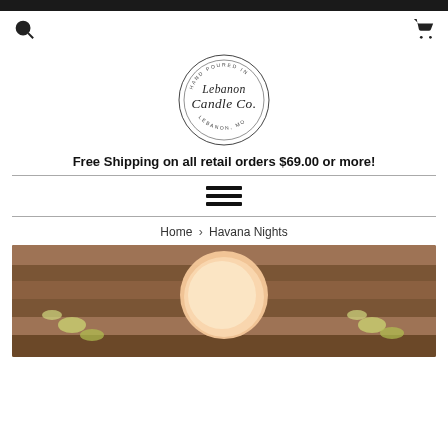[Figure (logo): Lebanon Candle Co. circular logo with script text, 'Hand Poured in Lebanon, MO']
Free Shipping on all retail orders $69.00 or more!
[Figure (other): Hamburger menu icon with three horizontal bars]
Home › Havana Nights
[Figure (photo): Product photo of a candle (Havana Nights) on a wooden surface with flowers]